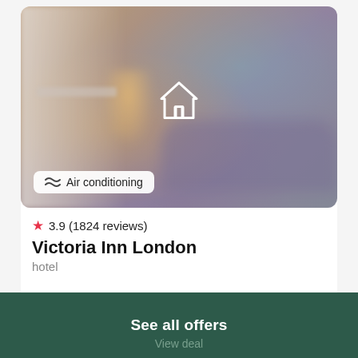[Figure (photo): Blurred hotel room interior with sofa, artwork, shelving; house/home icon overlay in center; Air conditioning amenity badge at bottom left]
★ 3.9 (1824 reviews)
Victoria Inn London
hotel
£30.53 /night
See all offers
View deal